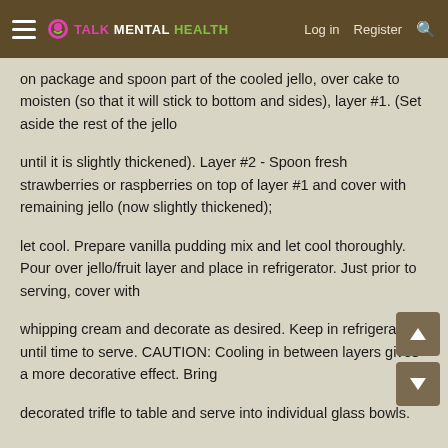Talk Mental Health — Log in | Register
on package and spoon part of the cooled jello, over cake to moisten (so that it will stick to bottom and sides), layer #1. (Set aside the rest of the jello
until it is slightly thickened). Layer #2 - Spoon fresh strawberries or raspberries on top of layer #1 and cover with remaining jello (now slightly thickened);
let cool. Prepare vanilla pudding mix and let cool thoroughly. Pour over jello/fruit layer and place in refrigerator. Just prior to serving, cover with
whipping cream and decorate as desired. Keep in refrigerator until time to serve. CAUTION: Cooling in between layers gives a more decorative effect. Bring
decorated trifle to table and serve into individual glass bowls.